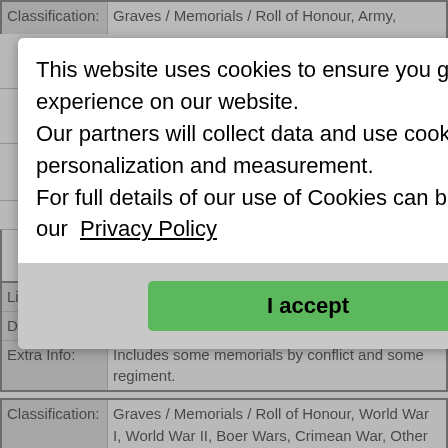Classification: Graves / Memorials / Roll of Honour, Army,
[Figure (screenshot): Cookie consent overlay modal with text: 'This website uses cookies to ensure you get the best experience on our website. Our partners will collect data and use cookies for ad personalization and measurement. For full details of our use of Cookies can be found in our Privacy Policy' and a green 'I accept' button.]
| Link: | https://www.angelfire.com/mp/memorials/mem... |
| Description: | Soldiers' Memorials Website |
| Extra Info: | Includes some memorials by conflict and some regiment. |
| Classification: | Graves / Memorials / Roll of Honour, World War I, World War II, Boer Wars, Crimean War, Other Battles / Wars / Conflicts |
| Title: | The Irish in Uniform |
| Link: | http://homepage.eircom.net/~tipperaryfame/ |
| Description: | The Irish in Uniform |